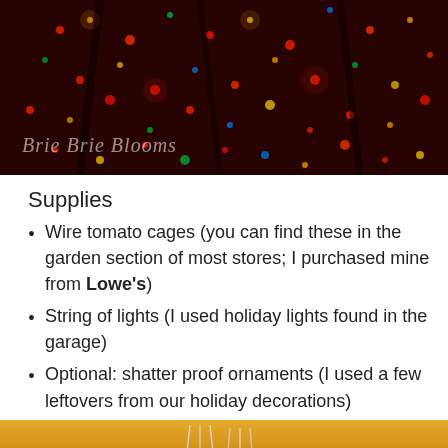[Figure (photo): Dark red/maroon background covered with colorful holiday string lights, with the watermark text 'Brie Brie Blooms' in white italic script in the lower left corner.]
Supplies
Wire tomato cages (you can find these in the garden section of most stores; I purchased mine from Lowe's)
String of lights (I used holiday lights found in the garage)
Optional: shatter proof ornaments (I used a few leftovers from our holiday decorations)
[Figure (photo): Partial photo showing a gold/yellow background with what appear to be wire tomato cage shapes visible at the bottom of the page.]